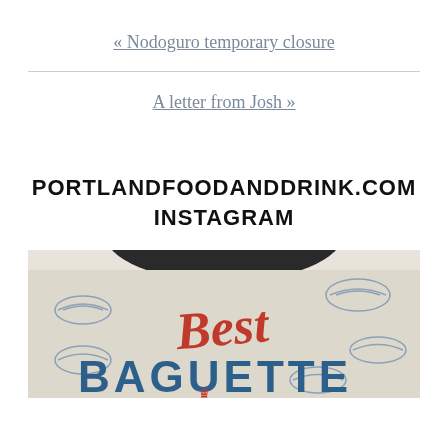« Nodoguro temporary closure
A letter from Josh »
PORTLANDFOODANDDRINK.COM INSTAGRAM
[Figure (photo): Close-up photo of a paper bag or wrapper with 'Best BAGUETTE' printed on it in red and blue text, with decorative bread illustrations]